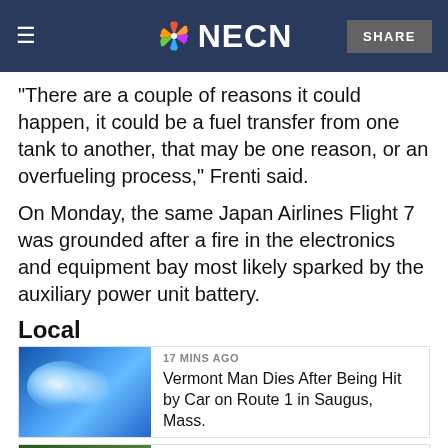NECN
“There are a couple of reasons it could happen, it could be a fuel transfer from one tank to another, that may be one reason, or an overfueling process,” Frenti said.
On Monday, the same Japan Airlines Flight 7 was grounded after a fire in the electronics and equipment bay most likely sparked by the auxiliary power unit battery.
Local
[Figure (photo): Blue-toned photo of vehicle lights, likely police or emergency vehicle]
17 MINS AGO
Vermont Man Dies After Being Hit by Car on Route 1 in Saugus, Mass.
[Figure (photo): Weather map showing green terrain, NECN weather segment thumbnail with play button]
23 MINS AGO
Strong Storms Possible Friday With Summery Weekend to Follow
The laboratory plans update on the NTSB investigation...